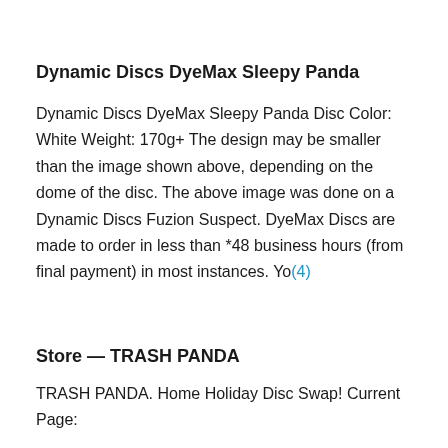Dynamic Discs DyeMax Sleepy Panda
Dynamic Discs DyeMax Sleepy Panda Disc Color: White Weight: 170g+ The design may be smaller than the image shown above, depending on the dome of the disc. The above image was done on a Dynamic Discs Fuzion Suspect. DyeMax Discs are made to order in less than *48 business hours (from final payment) in most instances. Yo(4)
Store — TRASH PANDA
TRASH PANDA. Home Holiday Disc Swap! Current Page: